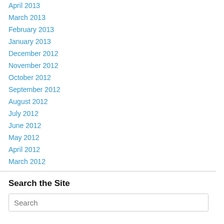April 2013
March 2013
February 2013
January 2013
December 2012
November 2012
October 2012
September 2012
August 2012
July 2012
June 2012
May 2012
April 2012
March 2012
Search the Site
Search